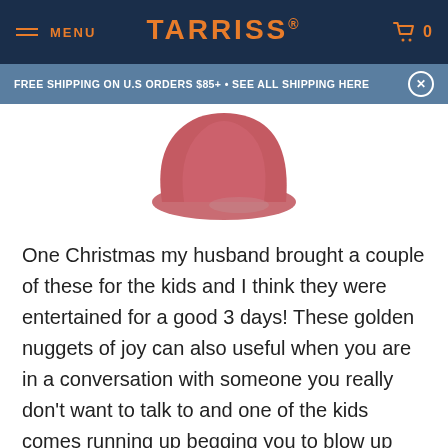MENU | TARRISS® | 0
FREE SHIPPING ON U.S ORDERS $85+ • SEE ALL SHIPPING HERE
[Figure (photo): Partial view of a red whoopee cushion against a white background]
One Christmas my husband brought a couple of these for the kids and I think they were entertained for a good 3 days! These golden nuggets of joy can also useful when you are in a conversation with someone you really don't want to talk to and one of the kids comes running up begging you to blow up their slobbery whoopee cushion for them. Although